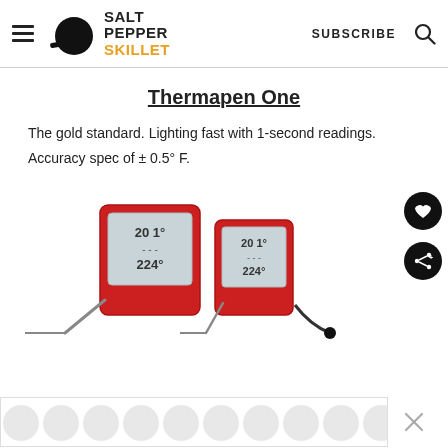Salt Pepper Skillet — SUBSCRIBE
Thermapen One
The gold standard. Lighting fast with 1-second readings. Accuracy spec of ± 0.5° F.
[Figure (photo): Two red meat thermometers with digital displays showing temperature readings (201°, 224°) and probes attached]
[Figure (other): Advertisement banner with circular dot pattern design and a close (X) button]